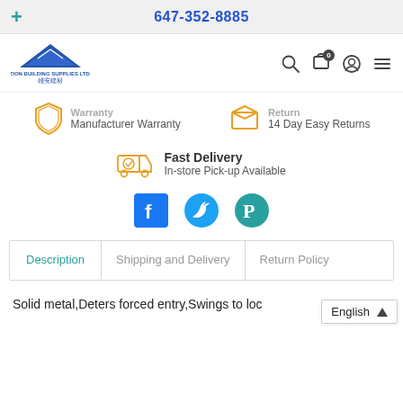647-352-8885
[Figure (logo): Zion Building Supplies Ltd. logo with blue triangle/house shape and Chinese characters]
Warranty
Manufacturer Warranty
Return
14 Day Easy Returns
Fast Delivery
In-store Pick-up Available
[Figure (infographic): Social media icons: Facebook, Twitter, Pinterest]
Description | Shipping and Delivery | Return Policy
Solid metal,Deters forced entry,Swings to loc